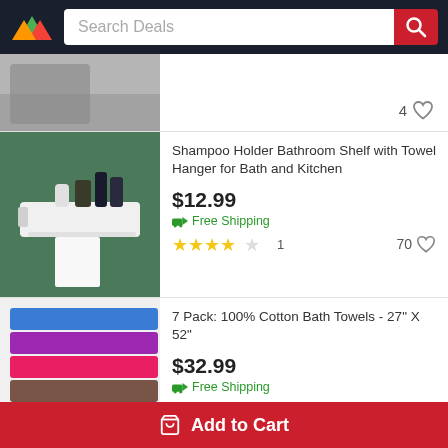[Figure (screenshot): App header with logo and search bar labeled 'Search Deals' with red search button]
[Figure (photo): Partial product image showing bathroom/shower area]
4
[Figure (photo): White bathroom shelf/shampoo holder mounted on green wall with toiletries and white towel]
Shampoo Holder Bathroom Shelf with Towel Hanger for Bath and Kitchen
$12.99
Free Shipping
1
70
[Figure (photo): Stack of 7 colorful cotton bath towels in blue, purple, pink, brown, green, white, and gold/beige]
7 Pack: 100% Cotton Bath Towels - 27" X 52"
$32.99
Free Shipping
1570
390
Add to Cart